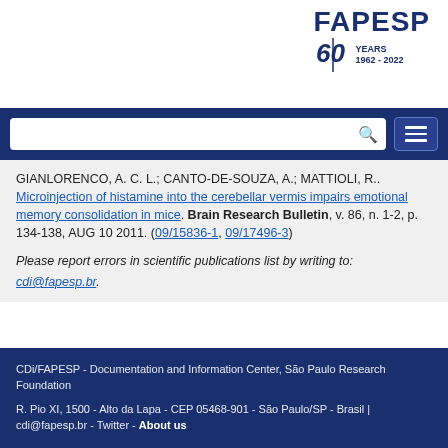[Figure (logo): FAPESP 60 Years 1962-2022 logo in top right corner]
GIANLORENCO, A. C. L.; CANTO-DE-SOUZA, A.; MATTIOLI, R.. Microinjection of histamine into the cerebellar vermis impairs emotional memory consolidation in mice. Brain Research Bulletin, v. 86, n. 1-2, p. 134-138, AUG 10 2011. (09/15836-1, 09/17496-3)
Please report errors in scientific publications list by writing to: cdi@fapesp.br.
CDi/FAPESP - Documentation and Information Center, São Paulo Research Foundation
R. Pio XI, 1500 - Alto da Lapa - CEP 05468-901 - São Paulo/SP - Brasil | cdi@fapesp.br - Twitter - About us